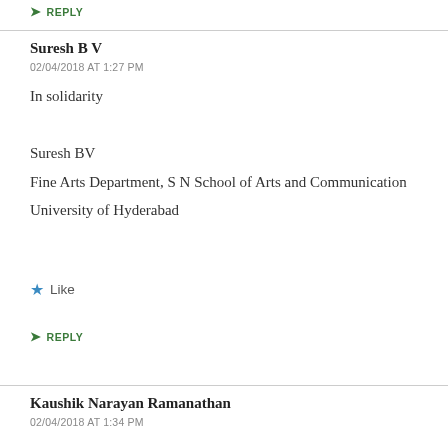➤ REPLY
Suresh B V
02/04/2018 AT 1:27 PM
In solidarity

Suresh BV
Fine Arts Department, S N School of Arts and Communication
University of Hyderabad
★ Like
➤ REPLY
Kaushik Narayan Ramanathan
02/04/2018 AT 1:34 PM